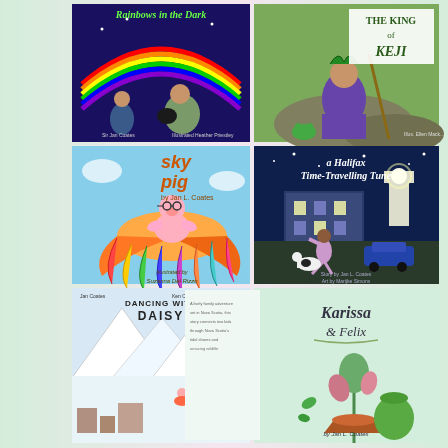[Figure (illustration): Six children's book covers arranged in a 2x3 grid on a light pink/green gradient background. Top-left: 'Rainbows in the Dark' by Jan Coates, illustrated by Heather Priestley - shows a rainbow, a boy and a woman with a cat. Top-right: 'The King of Keji' - shows a boy in purple striped shirt sitting on rocks with a frog. Middle-left: 'Sky Pig' by Jan L. Coates, illustrated by Suzanne Del Rizzo - a pig flying on a large colorful bird against blue sky. Middle-right: 'a Halifax Time-Travelling Tune' by Jan L. Coates, art by Marijke Simons - a boy running with a cat at night by a lighthouse. Bottom-left: 'Dancing with Daisy' - snowy mountain scene. Bottom-right: 'Karissa & Felix' by Jan L. Coates - green illustrated cover with plant.]